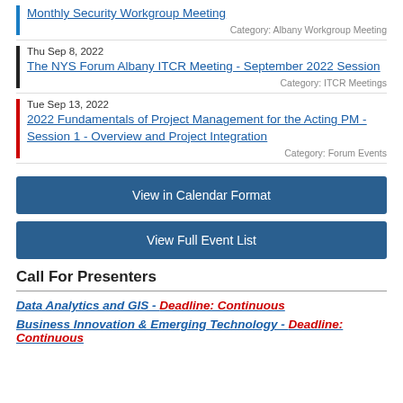Monthly Security Workgroup Meeting
Category: Albany Workgroup Meeting
Thu Sep 8, 2022
The NYS Forum Albany ITCR Meeting - September 2022 Session
Category: ITCR Meetings
Tue Sep 13, 2022
2022 Fundamentals of Project Management for the Acting PM - Session 1 - Overview and Project Integration
Category: Forum Events
View in Calendar Format
View Full Event List
Call For Presenters
Data Analytics and GIS - Deadline: Continuous
Business Innovation & Emerging Technology - Deadline: Continuous